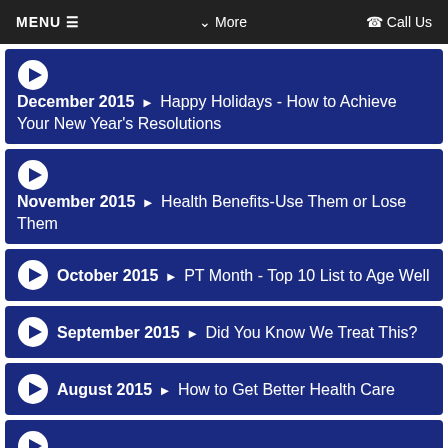MENU  More  Call Us
December 2015 ▶ Happy Holidays - How to Achieve Your New Year's Resolutions
November 2015 ▶ Health Benefits-Use Them or Lose Them
October 2015 ▶ PT Month - Top 10 List to Age Well
September 2015 ▶ Did You Know We Treat This?
August 2015 ▶ How to Get Better Health Care
(partial item)